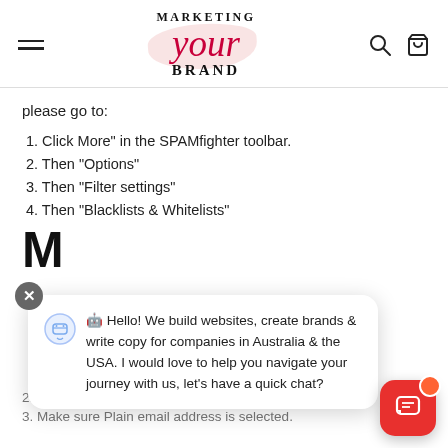[Figure (logo): Marketing Your Brand logo with script 'your' in red/crimson and pink brushstroke background]
please go to:
1. Click More" in the SPAMfighter toolbar.
2. Then "Options"
3. Then "Filter settings"
4. Then "Blacklists & Whitelists"
[Figure (screenshot): Chat popup widget: close button (X), robot avatar icon, message text: '🤖 Hello! We build websites, create brands & write copy for companies in Australia & the USA. I would love to help you navigate your journey with us, let's have a quick chat?', and red chat launcher button bottom right]
M
2. Click Add... on the right, the Friends list side.
3. Make sure Plain email address is selected.